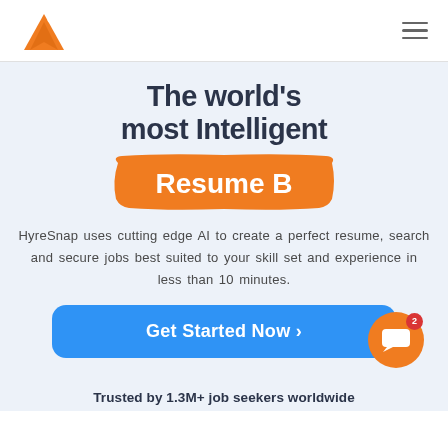[Figure (logo): HyreSnap orange mountain/triangle logo in top-left header]
The world's most Intelligent Resume B
HyreSnap uses cutting edge AI to create a perfect resume, search and secure jobs best suited to your skill set and experience in less than 10 minutes.
Get Started Now ›
Trusted by 1.3M+ job seekers worldwide